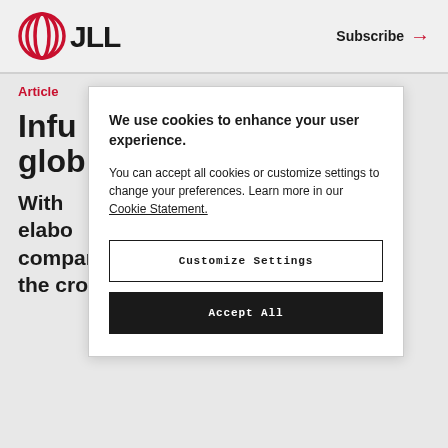JLL | Subscribe →
Article
Infu glob
With ore elabo companies seek to stand out from the crowd, some firms are looking
We use cookies to enhance your user experience.
You can accept all cookies or customize settings to change your preferences. Learn more in our Cookie Statement.
Customize Settings
Accept All